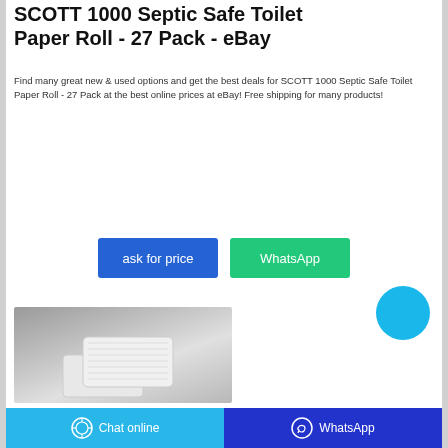SCOTT 1000 Septic Safe Toilet Paper Roll - 27 Pack - eBay
Find many great new & used options and get the best deals for SCOTT 1000 Septic Safe Toilet Paper Roll - 27 Pack at the best online prices at eBay! Free shipping for many products!
[Figure (other): Two buttons: 'ask for price' (blue) and 'WhatsApp' (green), and a cyan circular button on the right]
[Figure (photo): Product photo of SCOTT 1000 toilet paper rolls stacked on gray background]
Chat online   WhatsApp